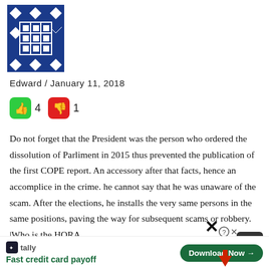[Figure (logo): Decorative logo with blue and white geometric diamond/cross pattern in a square]
Edward / January 11, 2018
[Figure (infographic): Thumbs up (green) count: 4, Thumbs down (red) count: 1]
Do not forget that the President was the person who ordered the dissolution of Parliment in 2015 thus prevented the publication of the first COPE report. An accessory after that facts, hence an accomplice in the crime. he cannot say that he was unaware of the scam. After the elections, he installs the very same persons in the same positions, paving the way for subsequent scams or robbery. |Who is the HORA
[Figure (screenshot): Tally app advertisement bar with 'Fast credit card payoff' label and 'Download Now' green button]